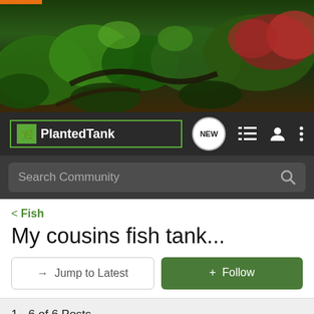[Figure (photo): Planted aquarium tank header image with lush green aquatic plants, driftwood, and red/pink plants in the background]
Planted Tank — NEW · list icon · user icon · menu icon
Search Community
< Fish
My cousins fish tank...
→ Jump to Latest
+ Follow
1 - 6 of 6 Posts
SsHhRrliMmPp · Registered
Joined Nov 3, 2012 · 10 Posts